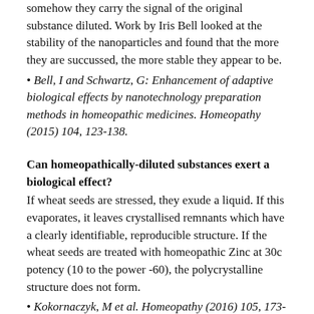somehow they carry the signal of the original substance diluted. Work by Iris Bell looked at the stability of the nanoparticles and found that the more they are succussed, the more stable they appear to be.
Bell, I and Schwartz, G: Enhancement of adaptive biological effects by nanotechnology preparation methods in homeopathic medicines. Homeopathy (2015) 104, 123-138.
Can homeopathically-diluted substances exert a biological effect?
If wheat seeds are stressed, they exude a liquid. If this evaporates, it leaves crystallised remnants which have a clearly identifiable, reproducible structure. If the wheat seeds are treated with homeopathic Zinc at 30c potency (10 to the power -60), the polycrystalline structure does not form.
Kokornaczyk, M et al. Homeopathy (2016) 105, 173-